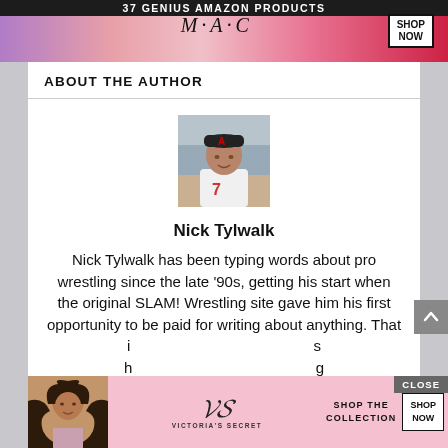[Figure (advertisement): MAC Cosmetics advertisement showing colorful lipsticks with 'SHOP NOW' button and '37 GENIUS AMAZON PRODUCTS' text at top]
ABOUT THE AUTHOR
[Figure (photo): Photo of Nick Tylwalk, a man wearing a white sports jersey and baseball cap]
Nick Tylwalk
Nick Tylwalk has been typing words about pro wrestling since the late '90s, getting his start when the original SLAM! Wrestling site gave him his first opportunity to be paid for writing about anything. That i... s h... g
[Figure (advertisement): Victoria's Secret advertisement showing a woman with curly hair and 'SHOP THE COLLECTION' / 'SHOP NOW' buttons]